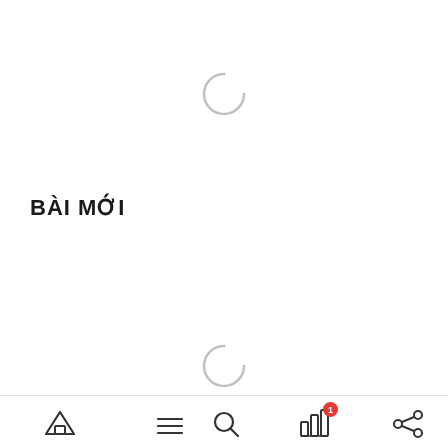[Figure (other): Loading spinner (arc/circle) at top center of page, light gray color]
BÀI MỚI
[Figure (other): Loading spinner (arc/circle) at bottom center of page, light gray color]
[Figure (other): Bottom navigation bar with home, menu, search, notifications (with badge '1'), and share icons]